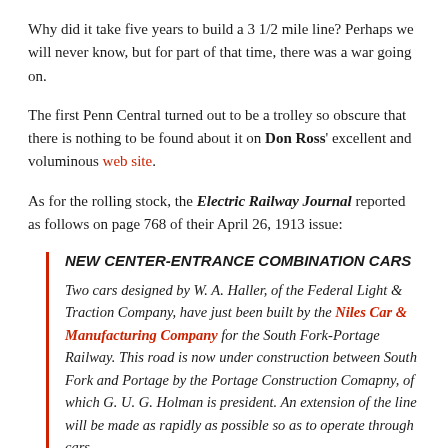Why did it take five years to build a 3 1/2 mile line? Perhaps we will never know, but for part of that time, there was a war going on.
The first Penn Central turned out to be a trolley so obscure that there is nothing to be found about it on Don Ross' excellent and voluminous web site.
As for the rolling stock, the Electric Railway Journal reported as follows on page 768 of their April 26, 1913 issue:
NEW CENTER-ENTRANCE COMBINATION CARS
Two cars designed by W. A. Haller, of the Federal Light & Traction Company, have just been built by the Niles Car & Manufacturing Company for the South Fork-Portage Railway. This road is now under construction between South Fork and Portage by the Portage Construction Comapny, of which G. U. G. Holman is president. An extension of the line will be made as rapidly as possible so as to operate through cars